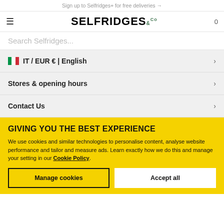Sign up to Selfridges+ for free deliveries →
[Figure (logo): Selfridges & Co logo with hamburger menu and cart]
Search Selfridges...
IT / EUR € | English
Stores & opening hours
Contact Us
GIVING YOU THE BEST EXPERIENCE
We use cookies and similar technologies to personalise content, analyse website performance and tailor and measure ads. Learn exactly how we do this and manage your setting in our Cookie Policy.
Manage cookies
Accept all